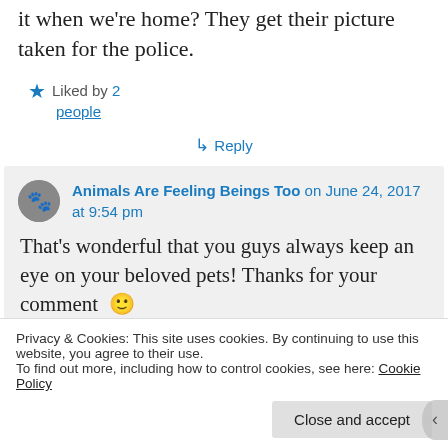it when we're home? They get their picture taken for the police.
Liked by 2 people
↳ Reply
Animals Are Feeling Beings Too on June 24, 2017 at 9:54 pm
That's wonderful that you guys always keep an eye on your beloved pets! Thanks for your comment 🙂
Privacy & Cookies: This site uses cookies. By continuing to use this website, you agree to their use.
To find out more, including how to control cookies, see here: Cookie Policy
Close and accept